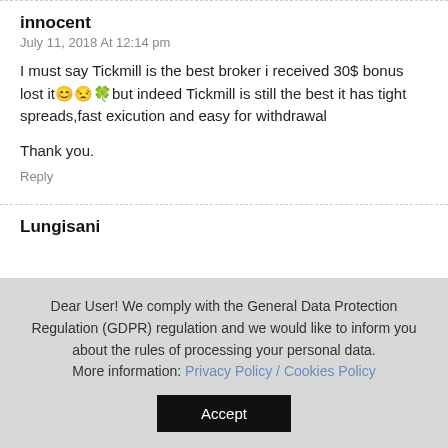innocent
July 11, 2018 At 12:14 pm
I must say Tickmill is the best broker i received 30$ bonus lost it😊😒🍀but indeed Tickmill is still the best it has tight spreads,fast exicution and easy for withdrawal
Thank you.
Reply
Lungisani
Dear User! We comply with the General Data Protection Regulation (GDPR) regulation and we would like to inform you about the rules of processing your personal data. More information: Privacy Policy / Cookies Policy
Accept